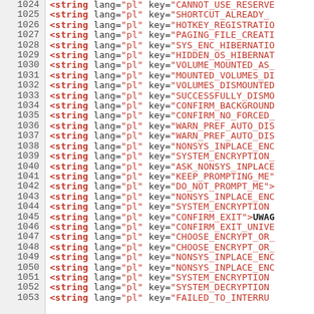[Figure (screenshot): Source code listing showing XML/resource string entries with line numbers 1024-1053. Each line contains a <string> tag with lang="pl" attribute and various key values in red, representing Polish language string keys for a software application (likely TrueCrypt/VeraCrypt).]